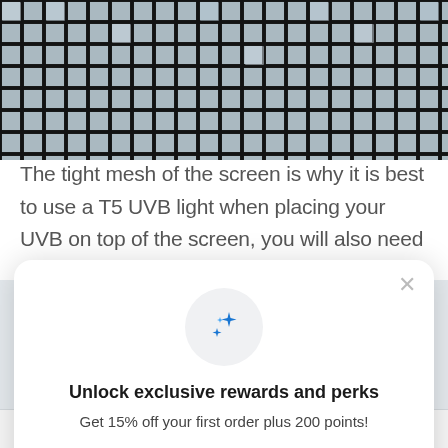[Figure (photo): Close-up photo of a dark mesh/screen material showing tight grid pattern]
The tight mesh of the screen is why it is best to use a T5 UVB light when placing your UVB on top of the screen, you will also need it to be 10.0 or above. It is not just UVB that the mesh blocks as if you are
Unlock exclusive rewards and perks
Get 15% off your first order plus 200 points!
Sign up - It's Free!
Already have an account? Sign in
Search   Rewards   Cart   Support   Menu